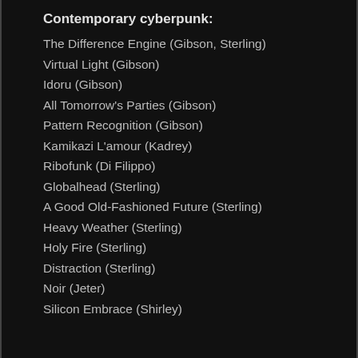Contemporary cyberpunk:
The Difference Engine (Gibson, Sterling)
Virtual Light (Gibson)
Idoru (Gibson)
All Tomorrow's Parties (Gibson)
Pattern Recognition (Gibson)
Kamikazi L'amour (Kadrey)
Ribofunk (Di Filippo)
Globalhead (Sterling)
A Good Old-Fashioned Future (Sterling)
Heavy Weather (Sterling)
Holy Fire (Sterling)
Distraction (Sterling)
Noir (Jeter)
Silicon Embrace (Shirley)